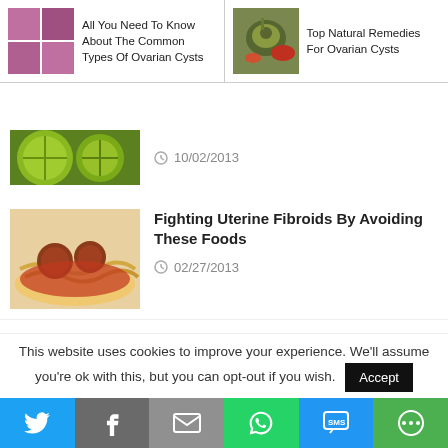[Figure (screenshot): Top navigation dropdown with two article cards: 'All You Need To Know About The Common Types Of Ovarian Cysts' and 'Top Natural Remedies For Ovarian Cysts']
[Figure (photo): Sliced limes/citrus fruit image]
10/02/2013
[Figure (photo): Plate of meatballs with pasta and tomato sauce]
Fighting Uterine Fibroids By Avoiding These Foods
02/27/2013
[Figure (photo): Colorful market produce display with vegetables and fruits]
Why Fiber Is One Of The Best Natural Remedies For Uterine Fibroids
04/15/2015
This website uses cookies to improve your experience. We'll assume you're ok with this, but you can opt-out if you wish.
[Figure (screenshot): Social sharing bar with Twitter, Facebook, Email, WhatsApp, SMS, and More buttons]